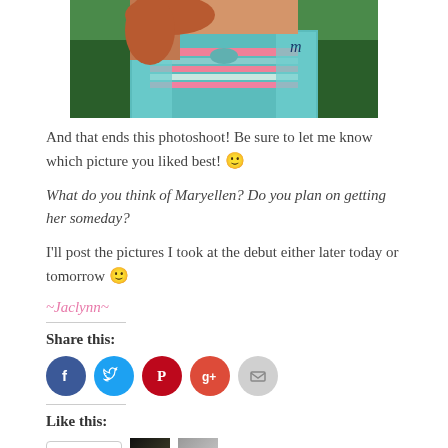[Figure (photo): Photo of a doll (Maryellen) wearing a teal knit shrug over a pink striped outfit, with greenery in background, cropped at top and sides]
And that ends this photoshoot! Be sure to let me know which picture you liked best! 🙂
What do you think of Maryellen? Do you plan on getting her someday?
I'll post the pictures I took at the debut either later today or tomorrow 🙂
~Jaclynn~
Share this:
[Figure (infographic): Row of social media share icons: Facebook (blue circle), Twitter (blue circle), Pinterest (red circle), Google+ (red-orange circle), Email (gray circle)]
Like this:
[Figure (infographic): Like button with star icon and two thumbnail images, and a Follow button in bottom right]